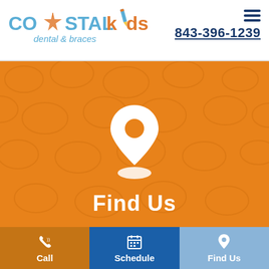[Figure (logo): Coastal Kids Dental & Braces logo with starfish, blue and orange text]
843-396-1239
[Figure (infographic): Orange banner with tooth pattern background, white location pin icon, and 'Find Us' white bold text]
Call
Schedule
Find Us